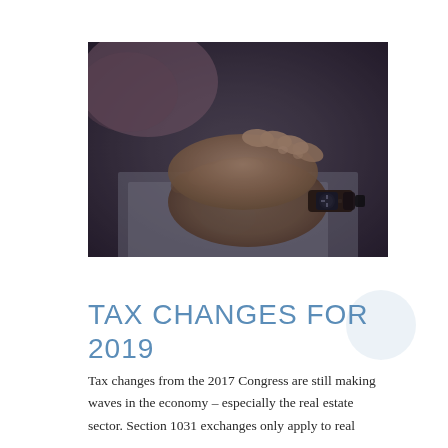[Figure (photo): Close-up photograph of two hands clasped together resting on a document or paper surface, one hand wearing a dark wristwatch with a leather strap. The image has a dark, moody tone with blue-grey color palette.]
TAX CHANGES FOR 2019
Tax changes from the 2017 Congress are still making waves in the economy – especially the real estate sector. Section 1031 exchanges only apply to real